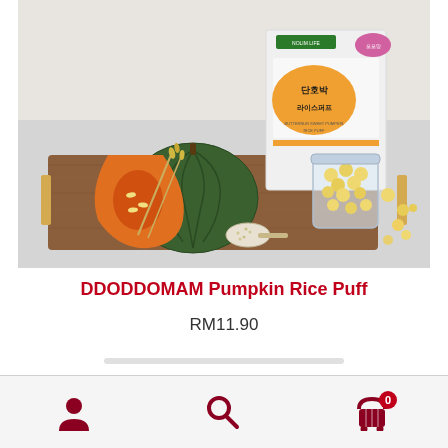[Figure (photo): Product photo of DDODDOMAM Pumpkin Rice Puff: Korean baby snack product box and ingredients including whole and halved pumpkins, rice stalks, sesame seeds, and puffed rice snacks in a glass jar, arranged on a wooden tray against a light gray background.]
DDODDOMAM Pumpkin Rice Puff
RM11.90